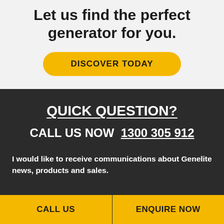Let us find the perfect generator for you.
DISCOVER TODAY
QUICK QUESTION?
CALL US NOW  1300 305 912
I would like to receive communications about Genelite news, products and sales.
CALL US
ENQUIRE NOW